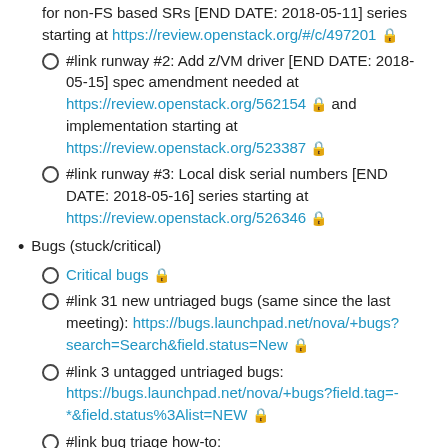for non-FS based SRs [END DATE: 2018-05-11] series starting at https://review.openstack.org/#/c/497201 🔒
#link runway #2: Add z/VM driver [END DATE: 2018-05-15] spec amendment needed at https://review.openstack.org/562154 🔒 and implementation starting at https://review.openstack.org/523387 🔒
#link runway #3: Local disk serial numbers [END DATE: 2018-05-16] series starting at https://review.openstack.org/526346 🔒
Bugs (stuck/critical)
Critical bugs 🔒
#link 31 new untriaged bugs (same since the last meeting): https://bugs.launchpad.net/nova/+bugs?search=Search&field.status=New 🔒
#link 3 untagged untriaged bugs: https://bugs.launchpad.net/nova/+bugs?field.tag=-*&field.status%3Alist=NEW 🔒
#link bug triage how-to: https://wiki.openstack.org/wiki/Nova/BugTriage#Tags 🔒
Gate status
#link check queue gate status http://status.openstack.org/elastic-